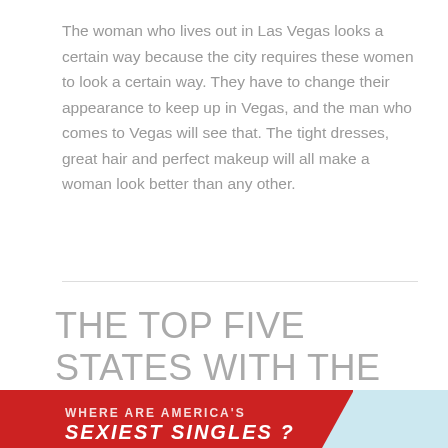The woman who lives out in Las Vegas looks a certain way because the city requires these women to look a certain way. They have to change their appearance to keep up in Vegas, and the man who comes to Vegas will see that. The tight dresses, great hair and perfect makeup will all make a woman look better than any other.
THE TOP FIVE STATES WITH THE MOST BEAUTIFUL WOMEN IN AMERICA
[Figure (infographic): Red infographic banner partially visible at bottom of page with text 'WHERE ARE AMERICA'S SEXIEST SINGLES?' in white, with a light blue section on the right side.]